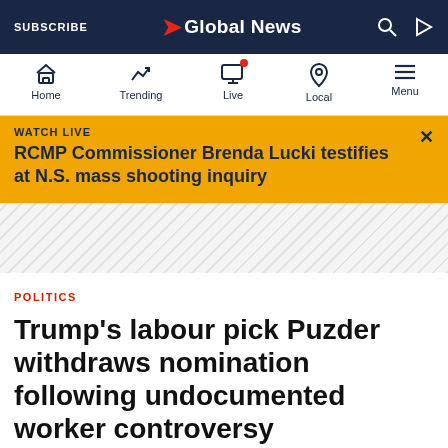SUBSCRIBE | Global News
[Figure (screenshot): Global News mobile app navigation bar with Home, Trending, Live, Local, Menu icons]
WATCH LIVE
RCMP Commissioner Brenda Lucki testifies at N.S. mass shooting inquiry
[Figure (other): Diagonal stripe divider area]
POLITICS
Trump's labour pick Puzder withdraws nomination following undocumented worker controversy